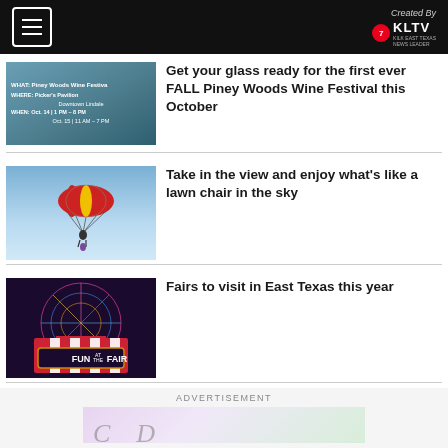Created By KLTV
[Figure (photo): Wine festival event flyer with event details on blue background]
Get your glass ready for the first ever FALL Piney Woods Wine Festival this October
[Figure (photo): Person skydiving with a red and yellow parachute against blue sky]
Take in the view and enjoy what's like a lawn chair in the sky
[Figure (photo): Fun at the Fair sign with Ferris wheel and colorful lights]
Fairs to visit in East Texas this year
ADVERTISEMENT
[Figure (photo): Advertisement banner with floral/cursive design]